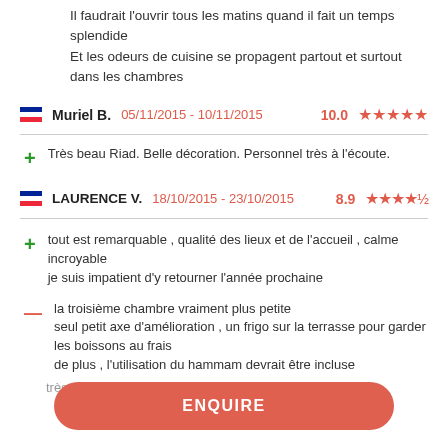Il faudrait l'ouvrir tous les matins quand il fait un temps splendide
Et les odeurs de cuisine se propagent partout et surtout dans les chambres
Muriel B.   05/11/2015 - 10/11/2015   10.0   ★★★★★
+ Très beau Riad. Belle décoration. Personnel très à l'écoute.
LAURENCE V.   18/10/2015 - 23/10/2015   8.9   ★★★★½
+ tout est remarquable , qualité des lieux et de l'accueil , calme incroyable
je suis impatient d'y retourner l'année prochaine
- la troisième chambre vraiment plus petite
seul petit axe d'amélioration , un frigo sur la terrasse pour garder les boissons au frais
de plus , l'utilisation du hammam devrait être incluse
très joli
ENQUIRE